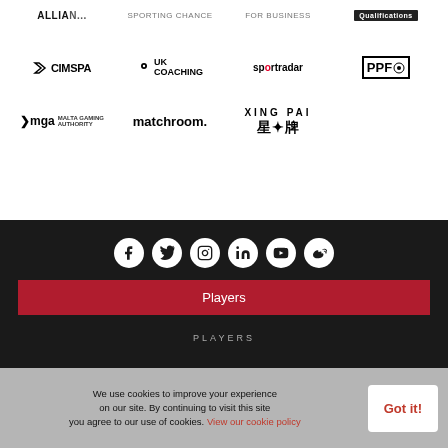[Figure (logo): Row of partner logos: Allianz (partial), Sporting Chance (partial), For Business (partial), Qualifications badge]
[Figure (logo): Row of partner logos: CIMSPA, UK Coaching, Sportradar, PPF Professional Players Federation]
[Figure (logo): Row of partner logos: mga Malta Gaming Authority, matchroom., Xing Pai]
[Figure (infographic): Social media icons row on dark background: Facebook, Twitter, Instagram, LinkedIn, YouTube, Weibo]
Players
PLAYERS
We use cookies to improve your experience on our site. By continuing to visit this site you agree to our use of cookies. View our cookie policy